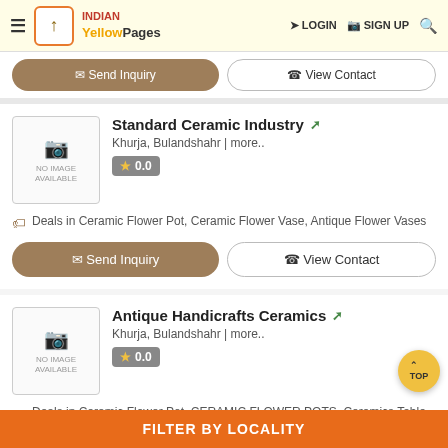Indian Yellow Pages — LOGIN | SIGN UP
Send Inquiry | View Contact (previous listing)
Standard Ceramic Industry
Khurja, Bulandshahr | more..
★ 0.0
Deals in Ceramic Flower Pot, Ceramic Flower Vase, Antique Flower Vases
Send Inquiry | View Contact
Antique Handicrafts Ceramics
Khurja, Bulandshahr | more..
★ 0.0
Deals in Ceramic Flower Pot, CERAMIC FLOWER POTS, Ceramics Table Lamps
FILTER BY LOCALITY